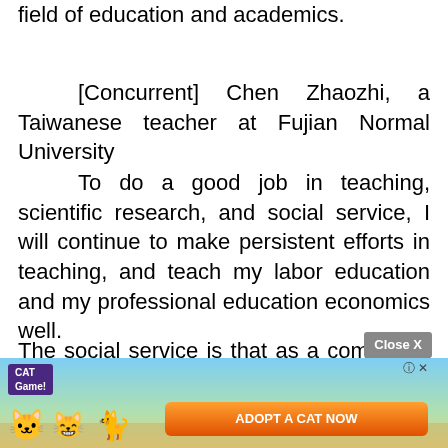field of education and academics.
[Concurrent] Chen Zhaozhi, a Taiwanese teacher at Fujian Normal University
To do a good job in teaching, scientific research, and social service, I will continue to make persistent efforts in teaching, and teach my labor education and my professional education economics well.
The social service is that as a compatriot in Fujian and Taiwan, I use my own personal experience to help compatriots on both sides of the strait, including Taiwan compatriots and mainl[and compatriots to under]stand
[Figure (screenshot): Advertisement overlay: 'CAT Game' ad with cartoon cats, 'ADOPT A CAT NOW' button, and 'Close X' button.]